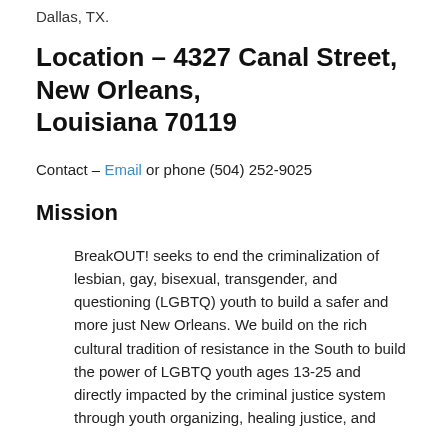Dallas, TX.
Location – 4327 Canal Street, New Orleans, Louisiana 70119
Contact – Email or phone (504) 252-9025
Mission
BreakOUT! seeks to end the criminalization of lesbian, gay, bisexual, transgender, and questioning (LGBTQ) youth to build a safer and more just New Orleans. We build on the rich cultural tradition of resistance in the South to build the power of LGBTQ youth ages 13-25 and directly impacted by the criminal justice system through youth organizing, healing justice, and